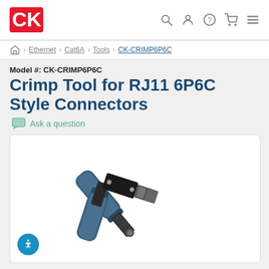CK Tools navigation bar with logo and icons
Ethernet > Cat6A > Tools > CK-CRIMP6P6C
Model #: CK-CRIMP6P6C
Crimp Tool for RJ11 6P6C Style Connectors
Ask a question
[Figure (photo): Photo of a crimp tool for RJ11 6P6C style connectors with blue/grey handles and black metal crimping mechanism, shown diagonally on white background]